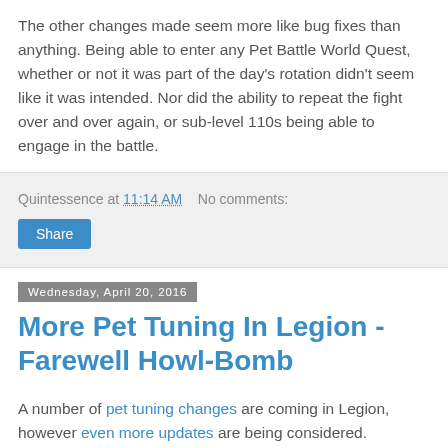The other changes made seem more like bug fixes than anything. Being able to enter any Pet Battle World Quest, whether or not it was part of the day's rotation didn't seem like it was intended. Nor did the ability to repeat the fight over and over again, or sub-level 110s being able to engage in the battle.
Quintessence at 11:14 AM   No comments:
Share
Wednesday, April 20, 2016
More Pet Tuning In Legion - Farewell Howl-Bomb
A number of pet tuning changes are coming in Legion, however even more updates are being considered.
New to the list: